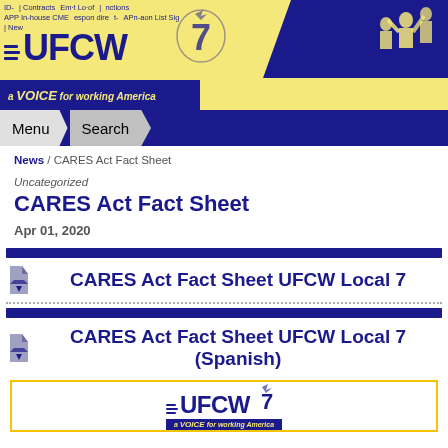[Figure (screenshot): UFCW Local 7 website header banner with logo, navigation links, silhouette graphic, and 'a VOICE for working America' tagline]
Menu   Search
News / CARES Act Fact Sheet
Uncategorized
CARES Act Fact Sheet
Apr 01, 2020
CARES Act Fact Sheet UFCW Local 7
CARES Act Fact Sheet UFCW Local 7 (Spanish)
[Figure (logo): UFCW 'a VOICE for working America' logo inside a yellow-bordered preview box]